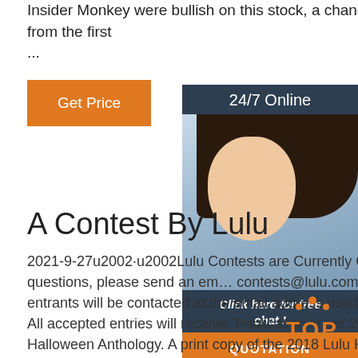Insider Monkey were bullish on this stock, a change of 12% from the first ...
Get Price
[Figure (photo): Customer service agent with headset, 24/7 Online banner, Click here for free chat label, and QUOTATION button overlay on right side]
A Contest By Lulu
2021-9-27u2002·u2002Lulu Contests are Currently Closed. If you have questions, please send an email to contests@lulu.com. All accepted entrants will be contacted at the email address used for submission. All accepted entries will receive: Publication in the 2018 Lulu Halloween Anthology. A print copy of the 2018 Lulu Halloween Anthology.
[Figure (logo): Orange TOP button with dot pattern above the text]